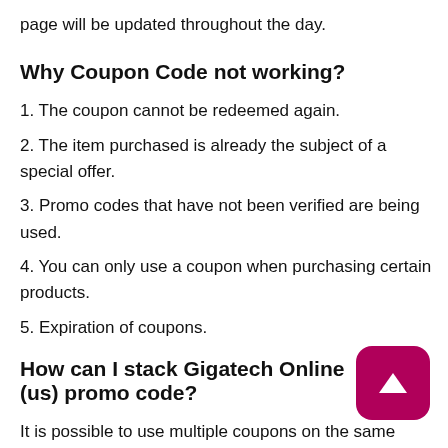page will be updated throughout the day.
Why Coupon Code not working?
1. The coupon cannot be redeemed again.
2. The item purchased is already the subject of a special offer.
3. Promo codes that have not been verified are being used.
4. You can only use a coupon when purchasing certain products.
5. Expiration of coupons.
How can I stack Gigatech Online (us) promo code?
It is possible to use multiple coupons on the same product to receive discounts at checkout with